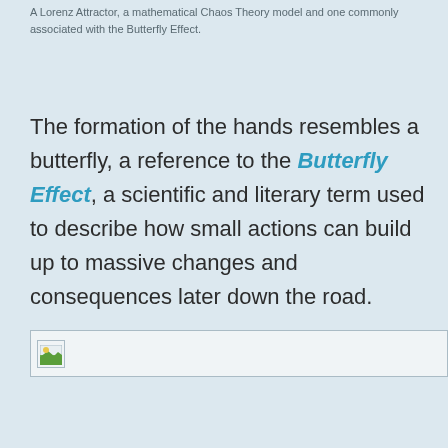A Lorenz Attractor, a mathematical Chaos Theory model and one commonly associated with the Butterfly Effect.
The formation of the hands resembles a butterfly, a reference to the Butterfly Effect, a scientific and literary term used to describe how small actions can build up to massive changes and consequences later down the road.
[Figure (other): Broken image placeholder icon with a green landscape thumbnail]